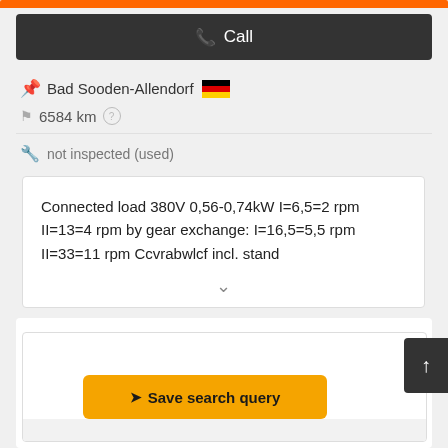[Figure (other): Orange bar at top of card]
📞 Call
Bad Sooden-Allendorf 🇩🇪
6584 km ?
not inspected (used)
Connected load 380V 0,56-0,74kW I=6,5=2 rpm II=13=4 rpm by gear exchange: I=16,5=5,5 rpm II=33=11 rpm Ccvrabwlcf incl. stand
[Figure (other): Scroll to top button with up arrow]
➤ Save search query